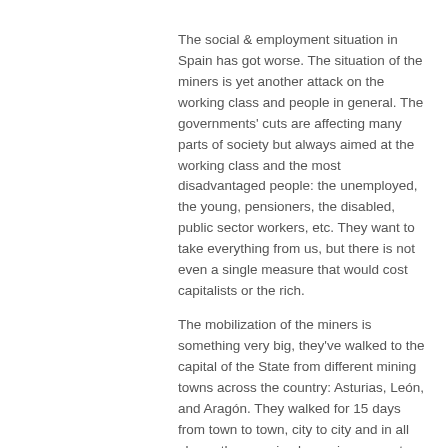The social & employment situation in Spain has got worse. The situation of the miners is yet another attack on the working class and people in general. The governments' cuts are affecting many parts of society but always aimed at the working class and the most disadvantaged people: the unemployed, the young, pensioners, the disabled, public sector workers, etc. They want to take everything from us, but there is not even a single measure that would cost capitalists or the rich.
The mobilization of the miners is something very big, they've walked to the capital of the State from different mining towns across the country: Asturias, León, and Aragón. They walked for 15 days from town to town, city to city and in all places they received massive support from locals. They lived through highly emotional experiences because of the solidarity demonstrated in each of the regions. In Asturias and León there are strong confrontations between the police and Civil Guards and the miners.